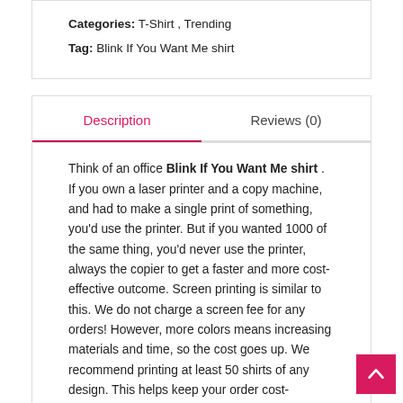Categories: T-Shirt , Trending
Tag: Blink If You Want Me shirt
Description
Reviews (0)
Think of an office Blink If You Want Me shirt . If you own a laser printer and a copy machine, and had to make a single print of something, you'd use the printer. But if you wanted 1000 of the same thing, you'd never use the printer, always the copier to get a faster and more cost-effective outcome. Screen printing is similar to this. We do not charge a screen fee for any orders! However, more colors means increasing materials and time, so the cost goes up. We recommend printing at least 50 shirts of any design. This helps keep your order cost-effective. When you increase your total